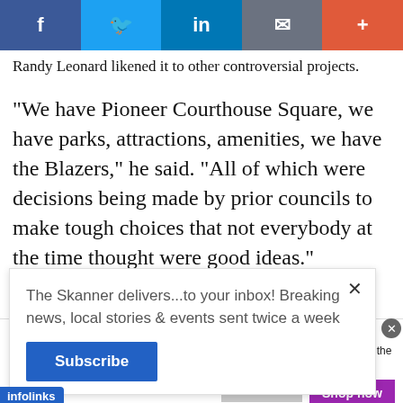[Figure (other): Social media sharing bar with Facebook, Twitter, LinkedIn, email, and plus buttons]
Randy Leonard likened it to other controversial projects.
“We have Pioneer Courthouse Square, we have parks, attractions, amenities, we have the Blazers,” he said. “All of which were decisions being made by prior councils to make tough choices that not everybody at the time thought were good ideas.”
The Skanner delivers...to your inbox! Breaking news, local stories & events sent twice a week
Subscribe
infolinks
[Figure (other): Wayfair advertisement: Top Appliances Low Prices, Save on best selling brands that live up to the hype, Shop now button]